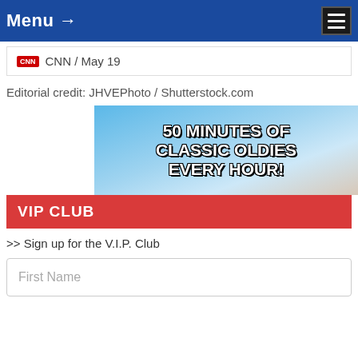Menu →
CNN / May 19
Editorial credit: JHVEPhoto / Shutterstock.com
[Figure (illustration): Advertisement banner with blue sky gradient background. Text reads: 50 MINUTES OF CLASSIC OLDIES EVERY HOUR!]
VIP CLUB
>> Sign up for the V.I.P. Club
First Name